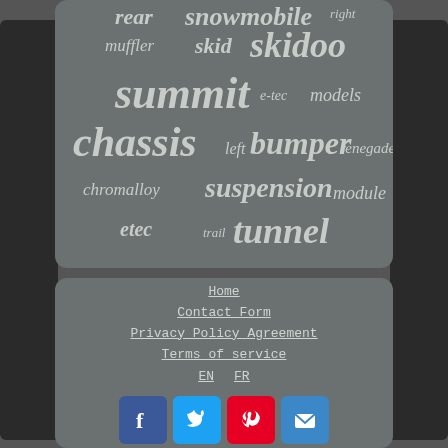[Figure (infographic): Tag cloud on gray rounded background showing snowmobile-related keywords in varying sizes and italic style: rear, snowmobile, right, muffler, skid, skidoo, summit, e-tec, models, chassis, left, bumper, renegade, chromalloy, suspension, module, etec, trail, tunnel]
Home
Contact Form
Privacy Policy Agreement
Terms of service
EN   FR
[Facebook] [Twitter] [Pinterest] [Email]